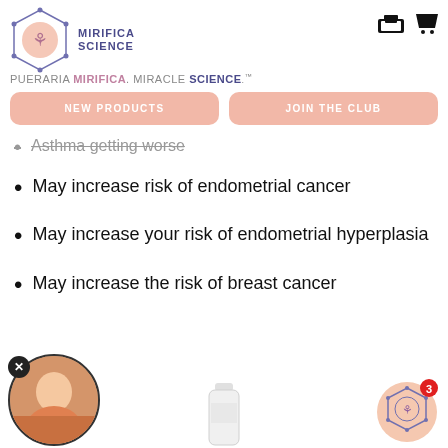MIRIFICA SCIENCE — PUERARIA MIRIFICA. MIRACLE SCIENCE.™
[Figure (logo): Mirifica Science hexagon logo with leaf icon and company name]
[Figure (other): Store and cart icons in top right corner]
[Figure (other): Two salmon/pink navigation buttons: NEW PRODUCTS and JOIN THE CLUB]
Asthma getting worse
May increase risk of endometrial cancer
May increase your risk of endometrial hyperplasia
May increase the risk of breast cancer
[Figure (photo): Circular thumbnail of a woman speaking, with X close button]
[Figure (photo): Bottom center: partial product bottle image]
[Figure (logo): Bottom right: Mirifica Science hexagon logo badge with red notification badge showing 3]